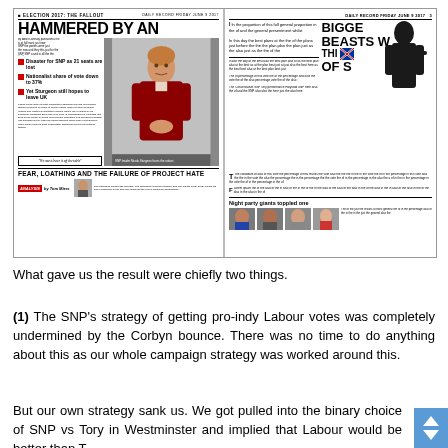[Figure (photo): Newspaper front page showing two pages side by side. Left page headline: 'HAMMERED BY AN' with sub-headline 'ELECTION 2017: THE FALLOUT', bullet points about SNP losing seats, photo of Nicola Sturgeon, and bottom headline 'FEAR, LOATHING AND THE FAILURE OF PROJECT HATE'. Right page headline: 'INDY BACKLA' with text 'Bigger beasts' and silhouette figure, Scotland flag, sub-headline 'Night party giants toppled one' with headshots.]
What gave us the result were chiefly two things.
(1) The SNP's strategy of getting pro-indy Labour votes was completely undermined by the Corbyn bounce. There was no time to do anything about this as our whole campaign strategy was worked around this.
But our own strategy sank us. We got pulled into the binary choice of SNP vs Tory in Westminster and implied that Labour would be better than T